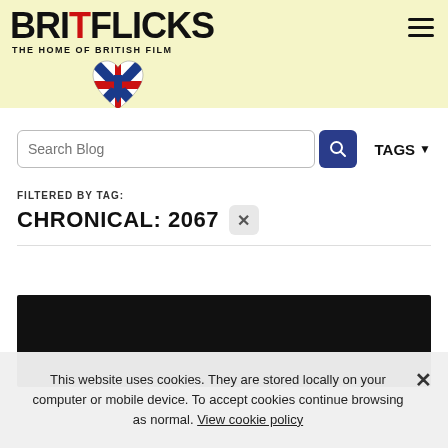BRITFLICKS — THE HOME OF BRITISH FILM
Search Blog
TAGS
FILTERED BY TAG:
CHRONICAL: 2067
[Figure (screenshot): Black image thumbnail area]
This website uses cookies. They are stored locally on your computer or mobile device. To accept cookies continue browsing as normal. View cookie policy